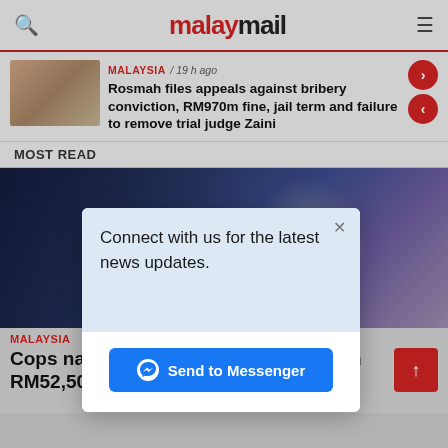malaymail
MALAYSIA / 19 h ago
Rosmah files appeals against bribery conviction, RM970m fine, jail term and failure to remove trial judge Zaini
MOST READ
[Figure (photo): News article photo of a woman]
[Figure (photo): Large dark background image with decorative crest or emblem]
MALAYSIA
Cops nab three men, seize ganja worth RM52,500 in Sungai Petani
[Figure (screenshot): Modal popup: Connect with us for the latest news updates. Send to Messenger button.]
ADVERTISEMENT